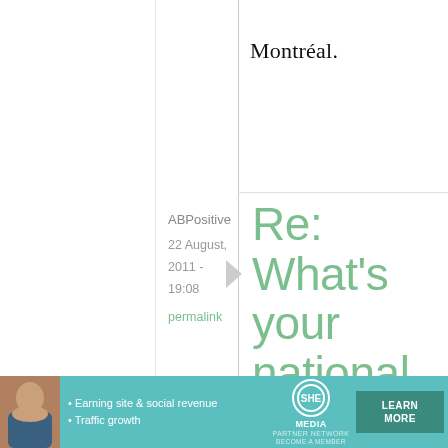Montréal.
ABPositive
22 August, 2011 - 19:08
permalink
Re: What's your national dish - or, is there any such ...
Actually, Poutine as
[Figure (screenshot): Advertisement banner for SHE Media Partner Network featuring a woman, bullet points 'Earning site & social revenue' and 'Traffic growth', SHE logo, and 'LEARN MORE' button with 'BECOME A MEMBER' text]